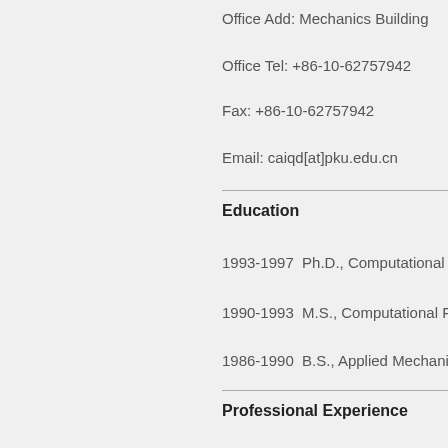Office Add: Mechanics Building
Office Tel: +86-10-62757942
Fax: +86-10-62757942
Email: caiqd[at]pku.edu.cn
Education
1993-1997  Ph.D., Computational Fluid D…
1990-1993  M.S., Computational Fluid D…
1986-1990  B.S., Applied Mechanics, De…
Professional Experience
1999-Present  Associate Professor, Peki…
2006-2006  Visiting Associate Professor,…
2002-2003  Visiting Associate Professor,…